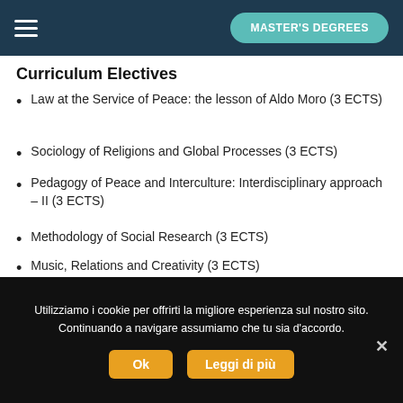MASTER'S DEGREES
Curriculum Electives
Law at the Service of Peace: the lesson of Aldo Moro (3 ECTS)
Sociology of Religions and Global Processes (3 ECTS)
Pedagogy of Peace and Interculture: Interdisciplinary approach – II (3 ECTS)
Methodology of Social Research (3 ECTS)
Music, Relations and Creativity (3 ECTS)
Questions of Ethics: from reflection to action, between the impersonal and personal (3 ECTS)
Utilizziamo i cookie per offrirti la migliore esperienza sul nostro sito. Continuando a navigare assumiamo che tu sia d'accordo.